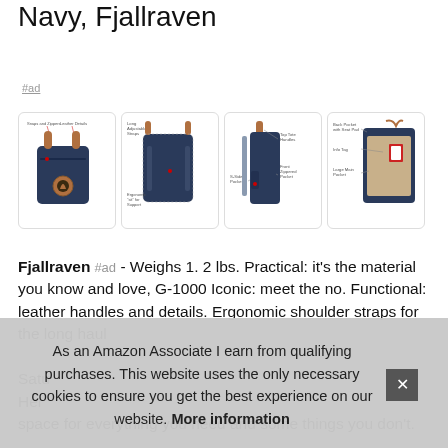Navy, Fjallraven
#ad
[Figure (photo): Four product images of a navy Fjallraven Kanken backpack showing front, back, side, and interior views with labeled features: Snaps and Zippers, Leather Details, Long Adjustable Straps, Ergonomic Sit for Support, S-Side Pockets, Top Tote Handles, Front Zippered Pocket, Back Pocket with Seat Pad, Info Tag, Large Main Pocket]
Fjallraven #ad - Weighs 1. 2 lbs. Practical: it's the material you know and love, G-1000 Iconic: meet the no. Functional: leather handles and details. Ergonomic shoulder straps for the long haul
Satu
Her
space for everything you need and some things you don't.
As an Amazon Associate I earn from qualifying purchases. This website uses the only necessary cookies to ensure you get the best experience on our website. More information